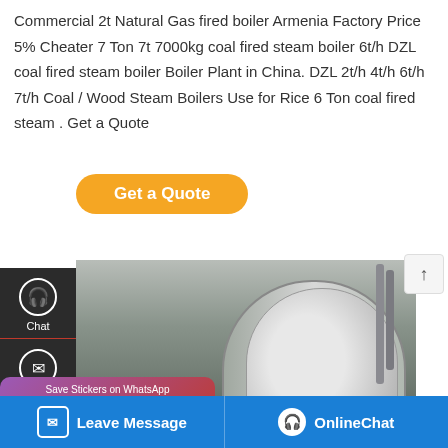Commercial 2t Natural Gas fired boiler Armenia Factory Price 5% Cheater 7 Ton 7t 7000kg coal fired steam boiler 6t/h DZL coal fired steam boiler Boiler Plant in China. DZL 2t/h 4t/h 6t/h 7t/h Coal / Wood Steam Boilers Use for Rice 6 Ton coal fired steam . Get a Quote
[Figure (screenshot): Website sidebar with Chat, Email, Contact icons on dark background; Get a Quote orange button; boiler equipment photo; WhatsApp sticker prompt overlay; bottom bar with Leave Message and OnlineChat buttons]